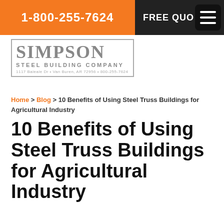1-800-255-7624   FREE QUO
[Figure (logo): Simpson Steel Building Company logo with address: 1117 Baleale Dr, Van Buren, AR 72956, 800-255-7624]
Home > Blog > 10 Benefits of Using Steel Truss Buildings for Agricultural Industry
10 Benefits of Using Steel Truss Buildings for Agricultural Industry